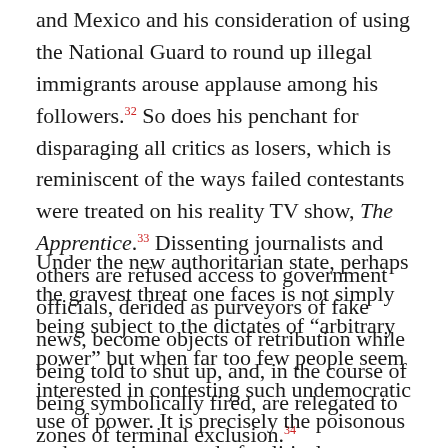and Mexico and his consideration of using the National Guard to round up illegal immigrants arouse applause among his followers.32 So does his penchant for disparaging all critics as losers, which is reminiscent of the ways failed contestants were treated on his reality TV show, The Apprentice.33 Dissenting journalists and others are refused access to government officials, derided as purveyors of fake news, become objects of retribution while being told to shut up, and, in the course of being symbolically fired, are relegated to zones of terminal exclusion.34
Under the new authoritarian state, perhaps the gravest threat one faces is not simply being subject to the dictates of “arbitrary power” but when far too few people seem interested in contesting such undemocratic use of power. It is precisely the poisonous and pervasive spread of political indifference that puts at risk the fundamental